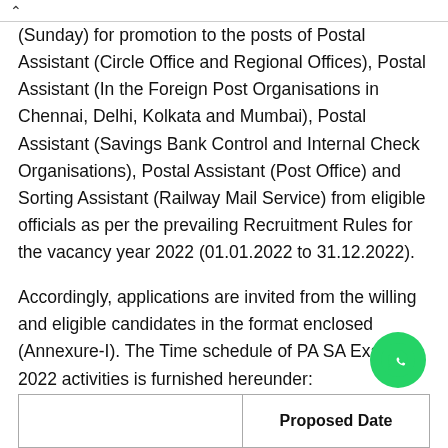(Sunday) for promotion to the posts of Postal Assistant (Circle Office and Regional Offices), Postal Assistant (In the Foreign Post Organisations in Chennai, Delhi, Kolkata and Mumbai), Postal Assistant (Savings Bank Control and Internal Check Organisations), Postal Assistant (Post Office) and Sorting Assistant (Railway Mail Service) from eligible officials as per the prevailing Recruitment Rules for the vacancy year 2022 (01.01.2022 to 31.12.2022).
Accordingly, applications are invited from the willing and eligible candidates in the format enclosed (Annexure-I). The Time schedule of PA SA Exam 2022 activities is furnished hereunder:
|  | Proposed Date |
| --- | --- |